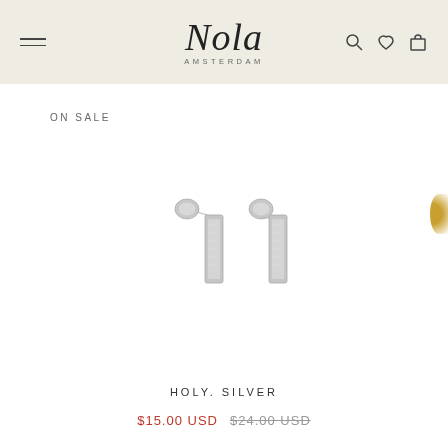Nola Amsterdam
ON SALE
[Figure (photo): Product photo of two silver bar stud earrings (Holy Silver) shown side by side on white background]
HOLY. SILVER
$15.00 USD  $24.00 USD (strikethrough)